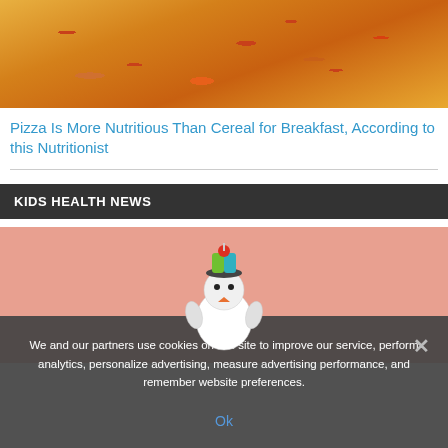[Figure (photo): Photo of pizza slices in a box, viewed from above, showing toppings including pepperoni and vegetables]
Pizza Is More Nutritious Than Cereal for Breakfast, According to this Nutritionist
KIDS HEALTH NEWS
[Figure (photo): Photo of a cartoon/toy figure wearing a colorful hat against a pink/salmon background]
We and our partners use cookies on this site to improve our service, perform analytics, personalize advertising, measure advertising performance, and remember website preferences.